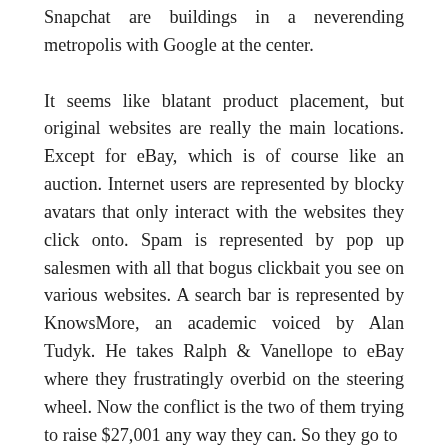Snapchat are buildings in a neverending metropolis with Google at the center.

It seems like blatant product placement, but original websites are really the main locations. Except for eBay, which is of course like an auction. Internet users are represented by blocky avatars that only interact with the websites they click onto. Spam is represented by pop up salesmen with all that bogus clickbait you see on various websites. A search bar is represented by KnowsMore, an academic voiced by Alan Tudyk. He takes Ralph & Vanellope to eBay where they frustratingly overbid on the steering wheel. Now the conflict is the two of them trying to raise $27,001 any way they can. So they go to